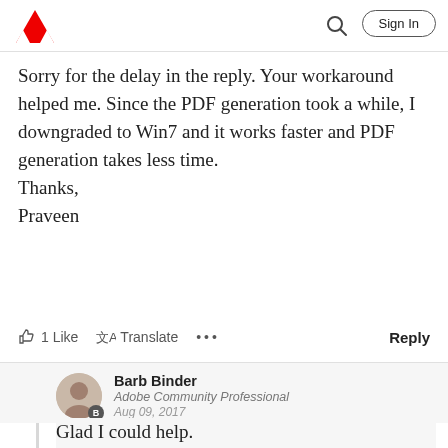Adobe | Sign In
Sorry for the delay in the reply. Your workaround helped me. Since the PDF generation took a while, I downgraded to Win7 and it works faster and PDF generation takes less time.
Thanks,
Praveen
1 Like  Translate  ...  Reply
Barb Binder
Adobe Community Professional
Aug 09, 2017
Glad I could help.
~Barb